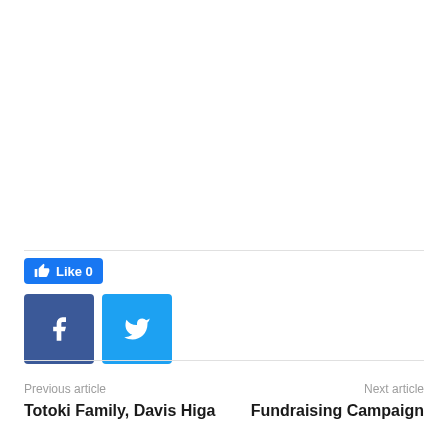[Figure (other): Facebook Like button showing 'Like 0', Facebook share button (f), and Twitter share button (bird icon) — social sharing widget]
Previous article
Totoki Family, Davis Higa
Next article
Fundraising Campaign